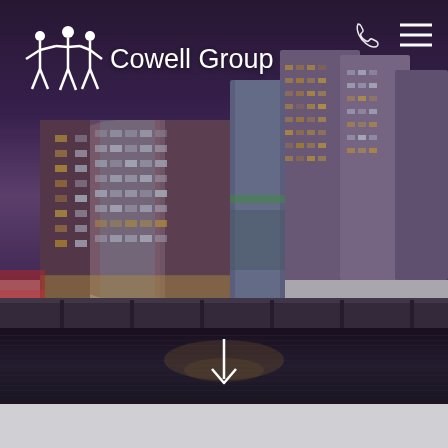[Figure (photo): Waterfront city buildings at dusk with purple/dark sky and reflections on water. Multiple high-rise residential/commercial buildings lit up along a waterfront promenade.]
Cowell Group
[Figure (logo): Cowell Group logo: white silhouette of people holding hands in a circle, with text 'Cowell Group' beside it]
[Figure (other): Phone icon (white outline) and hamburger menu icon (three white lines) in top right corner]
[Figure (other): White downward arrow at bottom center of the hero image]